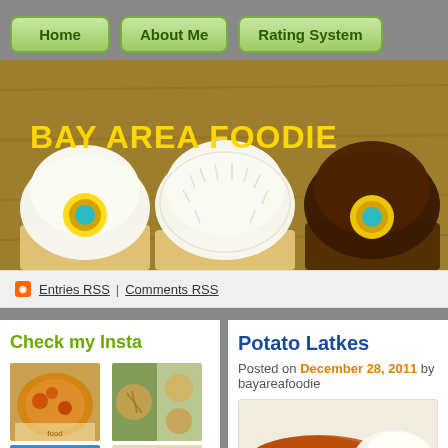Home | About Me | Rating System
[Figure (photo): Header banner showing three cupcakes on a wooden surface with 'BAY AREA FOODIE' text overlay in yellow]
Entries RSS | Comments RSS
Check my Insta
[Figure (photo): Instagram grid showing four food photos: pizza/chicken dish, noodle bowl with side dishes, forest/nature scene, and restaurant table setting]
Potato Latkes
Posted on December 28, 2011 by bayareafoodie
[Figure (photo): Partial photo of a potato latke with what appears to be sour cream]